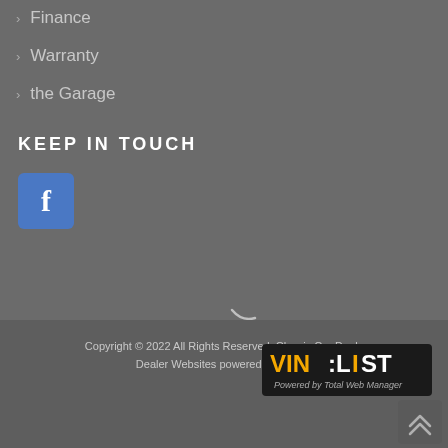> Finance
> Warranty
> the Garage
KEEP IN TOUCH
[Figure (logo): Facebook icon button - blue square with white f letter]
[Figure (other): Partial circular spinner/loading arc graphic]
Copyright © 2022 All Rights Reserved, Classic Car Deals
Dealer Websites powered by VinList
[Figure (logo): VinList logo - Powered by Total Web Manager]
[Figure (other): Back to top double chevron arrow icon]